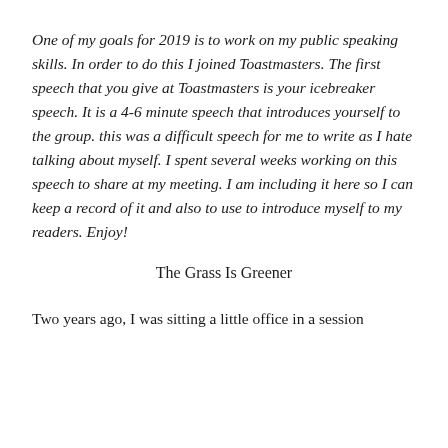One of my goals for 2019 is to work on my public speaking skills. In order to do this I joined Toastmasters. The first speech that you give at Toastmasters is your icebreaker speech. It is a 4-6 minute speech that introduces yourself to the group. this was a difficult speech for me to write as I hate talking about myself. I spent several weeks working on this speech to share at my meeting. I am including it here so I can keep a record of it and also to use to introduce myself to my readers. Enjoy!
The Grass Is Greener
Two years ago, I was sitting a little office in a session